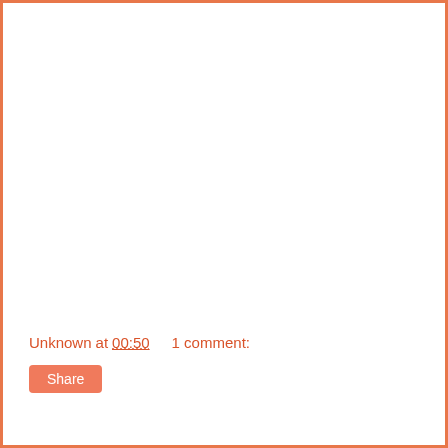Unknown at 00:50    1 comment:
Share